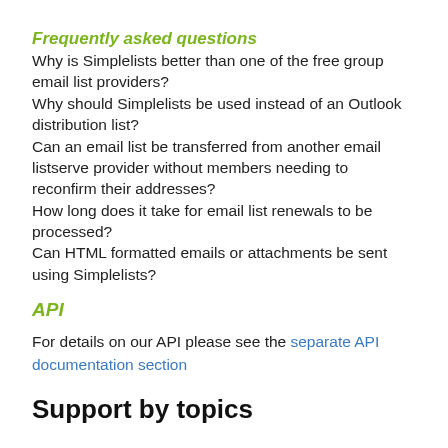Frequently asked questions
Why is Simplelists better than one of the free group email list providers?
Why should Simplelists be used instead of an Outlook distribution list?
Can an email list be transferred from another email listserve provider without members needing to reconfirm their addresses?
How long does it take for email list renewals to be processed?
Can HTML formatted emails or attachments be sent using Simplelists?
API
For details on our API please see the separate API documentation section
Support by topics